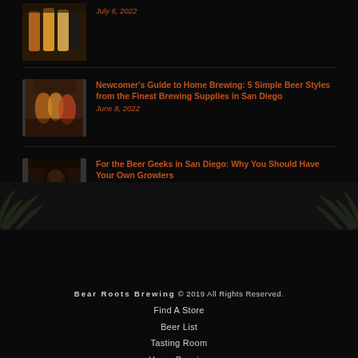[Figure (photo): Thumbnail photo of colorful beer glasses at top (partially visible)]
July 6, 2022
[Figure (photo): Thumbnail photo of people clinking beer glasses]
Newcomer's Guide to Home Brewing: 5 Simple Beer Styles from the Finest Brewing Supplies in San Diego
June 8, 2022
[Figure (photo): Thumbnail photo of dark growler jug with beer]
For the Beer Geeks in San Diego: Why You Should Have Your Own Growlers
May 11, 2022
Bear Roots Brewing © 2019 All Rights Reserved.
Find A Store
Beer List
Tasting Room
Home Brewing
Shop
Contact